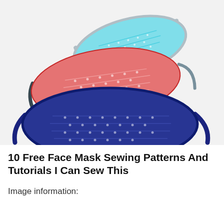[Figure (photo): Three fabric face masks with polka dot patterns stacked on a white background. Top mask is teal/mint colored with light gray ear loops, middle mask is coral/red-orange with white dots, and bottom/front mask is navy blue with white dots and dark navy ear loops.]
10 Free Face Mask Sewing Patterns And Tutorials I Can Sew This
Image information: